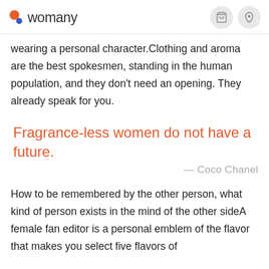womany
wearing a personal character.Clothing and aroma are the best spokesmen, standing in the human population, and they don't need an opening. They already speak for you.
Fragrance-less women do not have a future.
— Coco Chanel
How to be remembered by the other person, what kind of person exists in the mind of the other sideA female fan editor is a personal emblem of the flavor that makes you select five flavors of